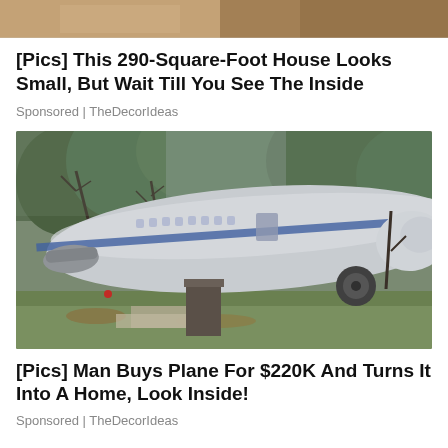[Figure (photo): Partial top image of a wooden/interior scene, cropped at top of page]
[Pics] This 290-Square-Foot House Looks Small, But Wait Till You See The Inside
Sponsored | TheDecorIdeas
[Figure (photo): A large commercial airplane fuselage resting on supports in a wooded area with green grass and bare trees, converted into a home]
[Pics] Man Buys Plane For $220K And Turns It Into A Home, Look Inside!
Sponsored | TheDecorIdeas